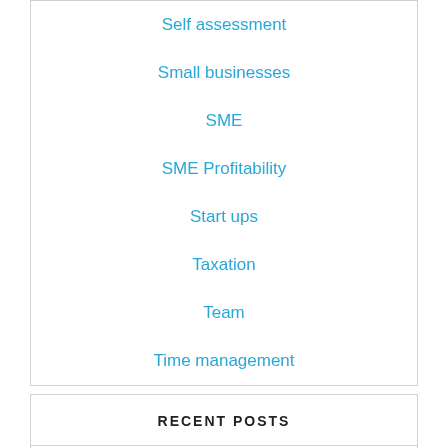Self assessment
Small businesses
SME
SME Profitability
Start ups
Taxation
Team
Time management
RECENT POSTS
Inflation rate rises to 40-year high of 10.1%
Small businesses given £21.3bn in Covid local